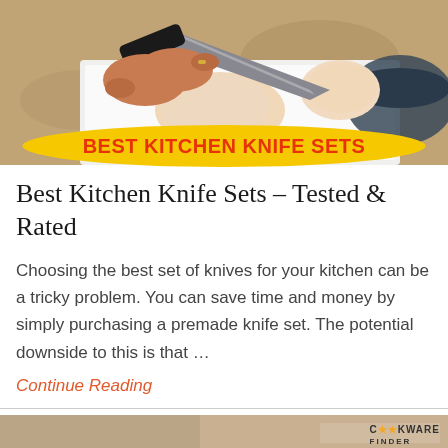[Figure (photo): Person cutting raw chicken on a white cutting board with a large kitchen knife; granite countertop visible in background with a dark bowl]
BEST KITCHEN KNIFE SETS
Best Kitchen Knife Sets – Tested & Rated
Choosing the best set of knives for your kitchen can be a tricky problem. You can save time and money by simply purchasing a premade knife set. The potential downside to this is that …
Continue Reading
[Figure (photo): Bottom strip of another article image with Cookware Finder logo in bottom right corner]